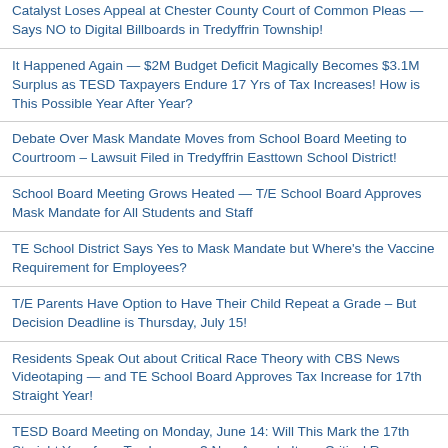Catalyst Loses Appeal at Chester County Court of Common Pleas — Says NO to Digital Billboards in Tredyffrin Township!
It Happened Again — $2M Budget Deficit Magically Becomes $3.1M Surplus as TESD Taxpayers Endure 17 Yrs of Tax Increases! How is This Possible Year After Year?
Debate Over Mask Mandate Moves from School Board Meeting to Courtroom – Lawsuit Filed in Tredyffrin Easttown School District!
School Board Meeting Grows Heated — T/E School Board Approves Mask Mandate for All Students and Staff
TE School District Says Yes to Mask Mandate but Where's the Vaccine Requirement for Employees?
T/E Parents Have Option to Have Their Child Repeat a Grade – But Decision Deadline is Thursday, July 15!
Residents Speak Out about Critical Race Theory with CBS News Videotaping — and TE School Board Approves Tax Increase for 17th Straight Year!
TESD Board Meeting on Monday, June 14: Will This Mark the 17th Straight Year for a Tax Increase? Non-Agenda Item: Critical Race Theory Has Parents Looking for Answers